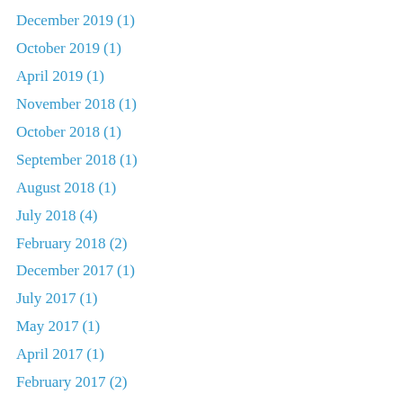December 2019 (1)
October 2019 (1)
April 2019 (1)
November 2018 (1)
October 2018 (1)
September 2018 (1)
August 2018 (1)
July 2018 (4)
February 2018 (2)
December 2017 (1)
July 2017 (1)
May 2017 (1)
April 2017 (1)
February 2017 (2)
December 2016 (2)
October 2016 (2)
August 2016 (1)
July 2016 (2)
June 2016 (1)
April 2016 (2)